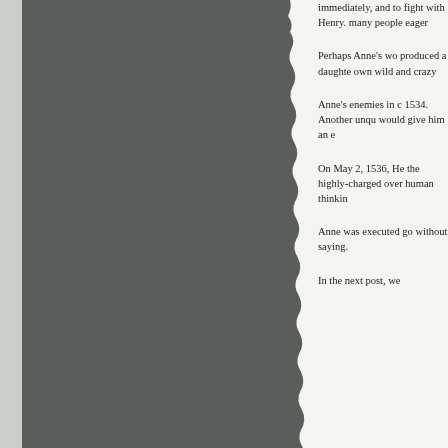[Figure (photo): A dark grey torn or rough-edged paper/wall texture on the left side of the page, with a lighter grey border on the far left edge.]
immediately, and to fight with Henry. many people eager
Perhaps Anne's wo produced a daughte own wild and crazy
Anne's enemies in c 1534. Another unqu would give him an e
On May 2, 1536, He the highly-charged over human thinkin
Anne was executed go without saying.
In the next post, we